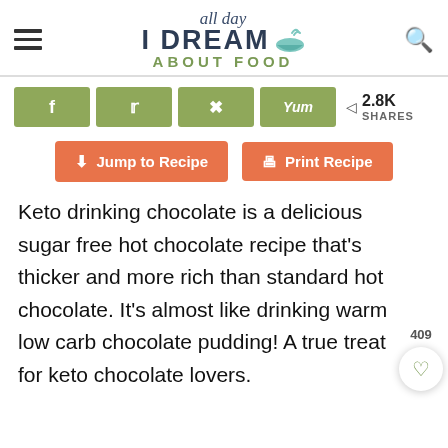[Figure (logo): All Day I Dream About Food blog logo with script text, bold uppercase DREAM and bowl icon, green ABOUT FOOD text]
[Figure (infographic): Social share buttons: Facebook, Twitter, Pinterest, Yummly in olive green, showing 2.8K SHARES]
[Figure (infographic): Two orange CTA buttons: Jump to Recipe and Print Recipe]
Keto drinking chocolate is a delicious sugar free hot chocolate recipe that’s thicker and more rich than standard hot chocolate. It’s almost like drinking warm low carb chocolate pudding! A true treat for keto chocolate lovers.